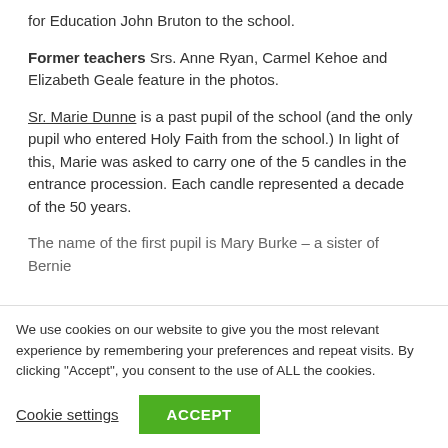for Education John Bruton to the school.
Former teachers Srs. Anne Ryan, Carmel Kehoe and Elizabeth Geale feature in the photos.
Sr. Marie Dunne is a past pupil of the school (and the only pupil who entered Holy Faith from the school.) In light of this, Marie was asked to carry one of the 5 candles in the entrance procession. Each candle represented a decade of the 50 years.
The name of the first pupil is Mary Burke – a sister of Bernie
We use cookies on our website to give you the most relevant experience by remembering your preferences and repeat visits. By clicking "Accept", you consent to the use of ALL the cookies.
Cookie settings
ACCEPT